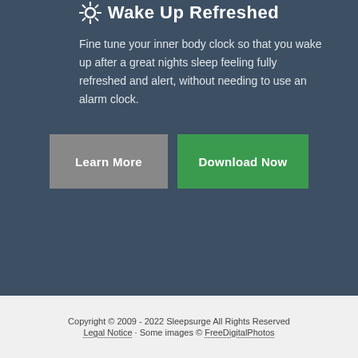Wake Up Refreshed
Fine tune your inner body clock so that you wake up after a great nights sleep feeling fully refreshed and alert, without needing to use an alarm clock.
Learn More
Download Now
Copyright © 2009 - 2022 Sleepsurge All Rights Reserved
Legal Notice · Some images © FreeDigitalPhotos